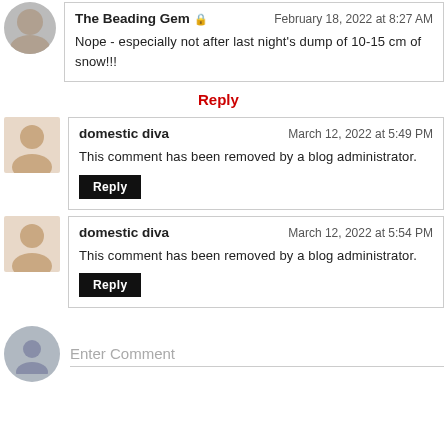The Beading Gem   February 18, 2022 at 8:27 AM
Nope - especially not after last night's dump of 10-15 cm of snow!!!
Reply
domestic diva   March 12, 2022 at 5:49 PM
This comment has been removed by a blog administrator.
Reply
domestic diva   March 12, 2022 at 5:54 PM
This comment has been removed by a blog administrator.
Reply
Enter Comment